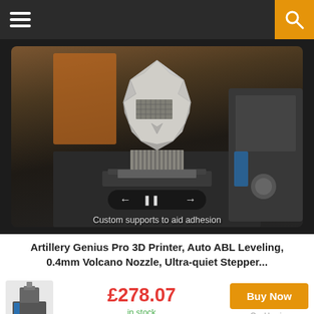Navigation bar with hamburger menu and search icon
[Figure (photo): A 3D-printed low-poly human head sculpture on a print bed, with video playback controls and caption 'Custom supports to aid adhesion']
Artillery Genius Pro 3D Printer, Auto ABL Leveling, 0.4mm Volcano Nozzle, Ultra-quiet Stepper...
[Figure (photo): Small product thumbnail of a 3D printer]
£278.07
in stock
Buy Now
Geekbuying.com